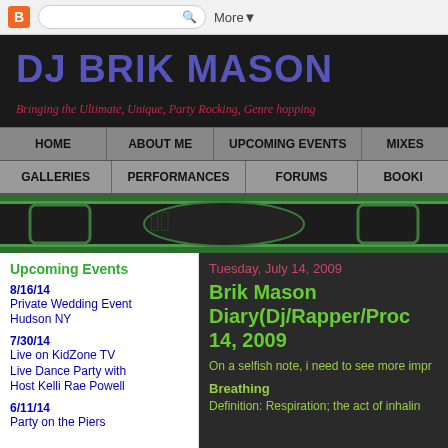Blogger toolbar with search and More button
DJ BRIK MASON
Bringing the Ultimate, Unique, Party Rocking, Genre hopping
HOME | ABOUT ME | UPCOMING EVENTS | MIXES
GALLERIES | PERFORMANCES | FORUMS | BOOKI
[Figure (illustration): Decorative banner with green graffiti style art on dark background]
Upcoming Events
8/16/14
Private Wedding Event
Hudson NY
7/30/14
Live on KidZone TV Live Dance Party with Host Kelli Rae Powell
6/11/14
Party on the Piers
Tuesday, July 14, 2009
Brik Mason Diary(Dj/Rapper/Producer) July 14, 2009
On a selfish note, i need to see more impr
Breathing
Definition: Respiration; the act of inhalin